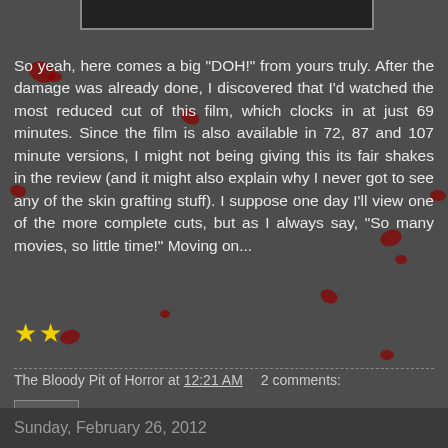[Figure (photo): Partial view of a movie still image at the top of the page]
So yeah, here comes a big "DOH!" from yours truly. After the damage was already done, I discovered that I'd watched the most reduced cut of this film, which clocks in at just 69 minutes. Since the film is also available in 72, 87 and 107 minute versions, I might not being giving this its fair shakes in the review (and it might also explain why I never got to see any of the skin grafting stuff). I suppose one day I'll view one of the more complete cuts, but as I always say, "So many movies, so little time!" Moving on...
★★
The Bloody Pit of Horror at 12:21 AM    2 comments:
Share
Sunday, February 26, 2012